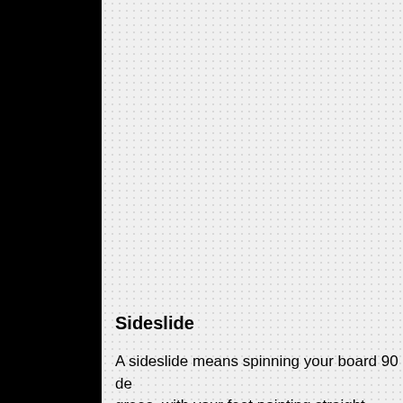Sideslide
A sideslide means spinning your board 90 de grees, with your feet pointing straight ahead and directly beside one foot in front of the other. Stay on your hee